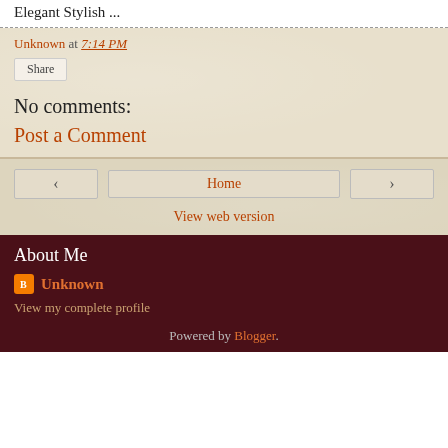Elegant Stylish ...
Unknown at 7:14 PM
Share
No comments:
Post a Comment
‹
Home
›
View web version
About Me
Unknown
View my complete profile
Powered by Blogger.